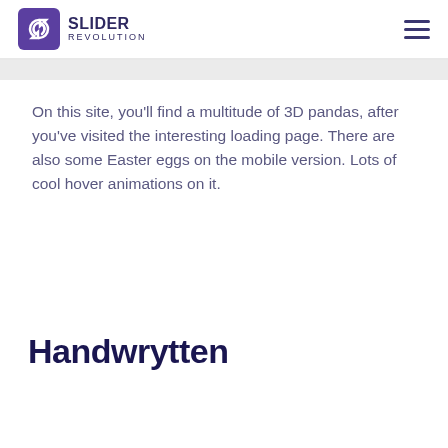SLIDER REVOLUTION
On this site, you’ll find a multitude of 3D pandas, after you’ve visited the interesting loading page. There are also some Easter eggs on the mobile version. Lots of cool hover animations on it.
Handwrytten